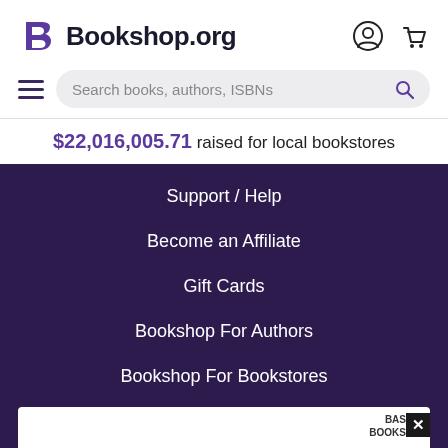[Figure (logo): Bookshop.org logo with stylized B icon and site name]
Search books, authors, ISBNs
$22,016,005.71 raised for local bookstores
Support / Help
Become an Affiliate
Gift Cards
Bookshop For Authors
Bookshop For Bookstores
[Figure (screenshot): Partial ad card with BAS BOOKS label and close button]